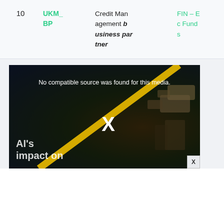| # | Code | Description | Category |
| --- | --- | --- | --- |
| 10 | UKM_BP | Credit Management business partner | FIN – Ec Funds |
[Figure (screenshot): Video player showing 'No compatible source was found for this media.' with overlay text 'AI's impact on' and a yellow diagonal line with an X mark. Security cameras visible in the background.]